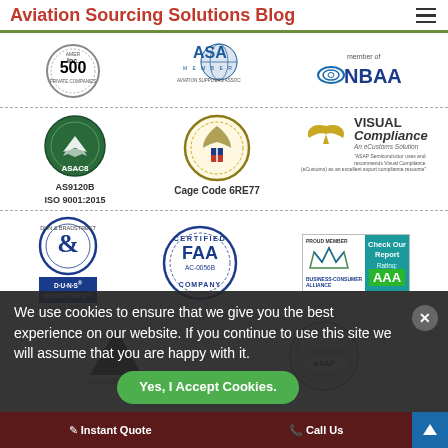Aviation Sourcing Solutions Blog
[Figure (logo): Inc 500 America's Fastest Growing Private Companies circular badge logo]
[Figure (logo): ASA Member Aviation Suppliers Association logo with globe]
[Figure (logo): Member of NBAA logo]
[Figure (logo): ASAC8 AS9120B ISO 9001:2015 certification badge]
[Figure (logo): Cage Code 6RE77 official seal]
[Figure (logo): Visual Compliance An eCustoms Solution logo with eagle]
[Figure (logo): D-U-N-S Registered badge with Dun and Bradstreet logo, DUNS NO. 05987623S]
[Figure (logo): FAA Certified Company AC-0056B seal]
[Figure (logo): Business Consumer Alliance Proud Member Check Our Report Rating: AAA badge]
[Figure (logo): ANSI/ESD S20.20 triangle logo]
[Figure (logo): Authenticated Certified ASAP Supplier seal]
We use cookies to ensure that we give you the best experience on our website. If you continue to use this site we will assume that you are happy with it.
Yes, I Accept Cookies.
Instant Quote   Call Us